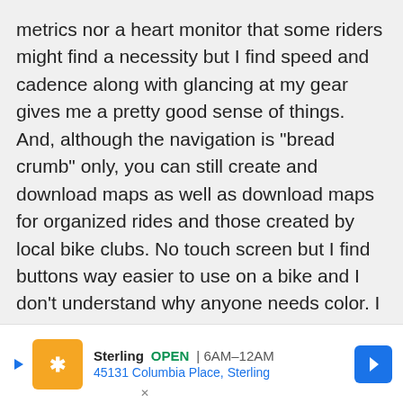metrics nor a heart monitor that some riders might find a necessity but I find speed and cadence along with glancing at my gear gives me a pretty good sense of things. And, although the navigation is "bread crumb" only, you can still create and download maps as well as download maps for organized rides and those created by local bike clubs. No touch screen but I find buttons way easier to use on a bike and I don't understand why anyone needs color. I guess I fall into the "basic advanced" category.
Reply
[Figure (other): Advertisement banner for Sterling showing logo, OPEN status, hours 6AM-12AM, address 45131 Columbia Place, Sterling, with navigation arrow button]